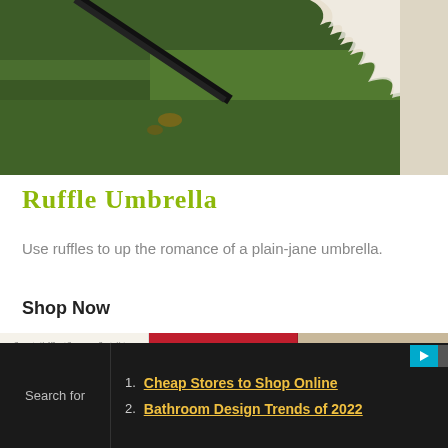[Figure (photo): Close-up photo of grass with a tent peg and white ruffled fabric on green lawn]
Ruffle Umbrella
Use ruffles to up the romance of a plain-jane umbrella.
Shop Now
[Figure (photo): Book covers: Selling Luxury, The Luxury Strategy (red), and a brown sandal/flip flop]
Search for
1. Cheap Stores to Shop Online
2. Bathroom Design Trends of 2022